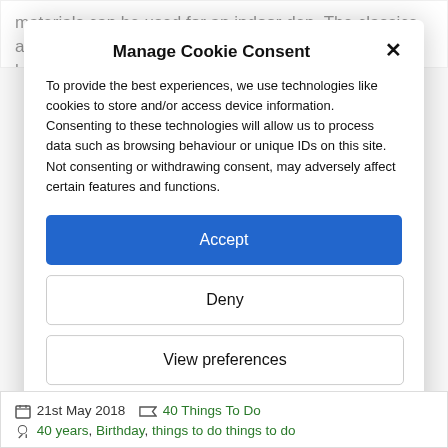materials can be used for an indoor den. The classics are: the blanket/sheet/old curtains den; the cardboard box; the pillow fort...
Manage Cookie Consent
To provide the best experiences, we use technologies like cookies to store and/or access device information. Consenting to these technologies will allow us to process data such as browsing behaviour or unique IDs on this site. Not consenting or withdrawing consent, may adversely affect certain features and functions.
Accept
Deny
View preferences
Cookie Policy  Privacy & Cookie Policy, Terms of Use
21st May 2018   40 Things To Do
40 years, Birthday, things to do things to do